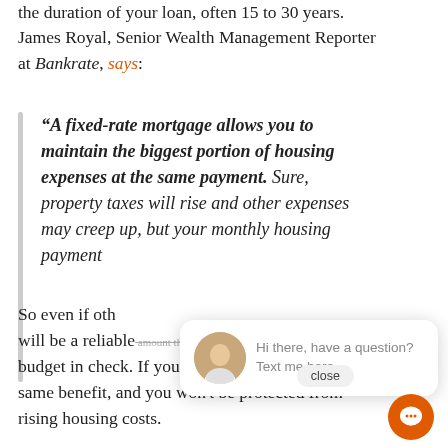the duration of your loan, often 15 to 30 years. James Royal, Senior Wealth Management Reporter at Bankrate, says:
“A fixed-rate mortgage allows you to maintain the biggest portion of housing expenses at the same payment. Sure, property taxes will rise and other expenses may creep up, but your monthly housing payment
So even if other costs rise, your monthly payment will be a reliable amount that can help keep your budget in check. If you rent, you don’t have that same benefit, and you won’t be protected from rising housing costs.